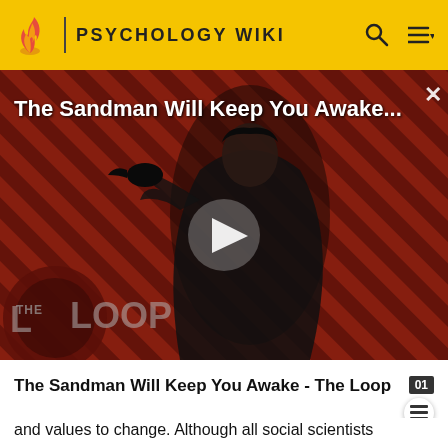PSYCHOLOGY WIKI
[Figure (screenshot): Video thumbnail for 'The Sandman Will Keep You Awake' showing a dark-cloaked figure against a red diagonal striped background with 'THE LOOP' logo and a play button overlay]
The Sandman Will Keep You Awake - The Loop
and values to change. Although all social scientists recognize that cultures and societies are dynamic and change, there have been extensive debates as to how, and how fast they are to change. So that the t